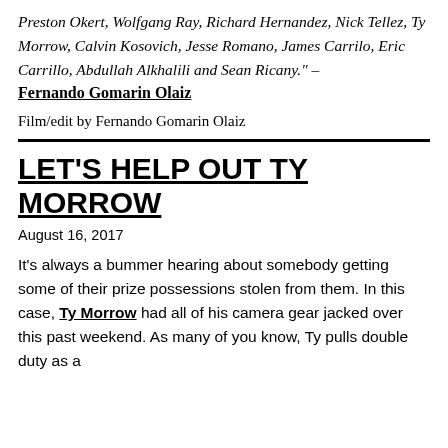Preston Okert, Wolfgang Ray, Richard Hernandez, Nick Tellez, Ty Morrow, Calvin Kosovich, Jesse Romano, James Carrilo, Eric Carrillo, Abdullah Alkhalili and Sean Ricany." – Fernando Gomarin Olaiz
Film/edit by Fernando Gomarin Olaiz
LET'S HELP OUT TY MORROW
August 16, 2017
It's always a bummer hearing about somebody getting some of their prize possessions stolen from them. In this case, Ty Morrow had all of his camera gear jacked over this past weekend. As many of you know, Ty pulls double duty as a